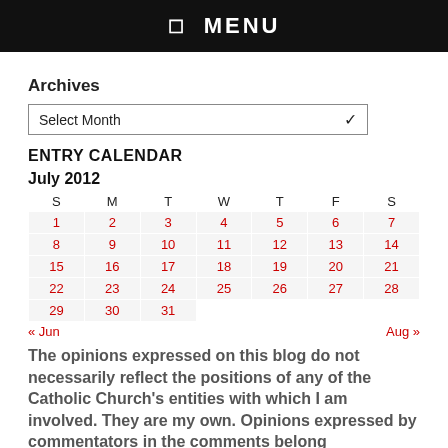☰ MENU
Archives
Select Month
ENTRY CALENDAR
| S | M | T | W | T | F | S |
| --- | --- | --- | --- | --- | --- | --- |
| 1 | 2 | 3 | 4 | 5 | 6 | 7 |
| 8 | 9 | 10 | 11 | 12 | 13 | 14 |
| 15 | 16 | 17 | 18 | 19 | 20 | 21 |
| 22 | 23 | 24 | 25 | 26 | 27 | 28 |
| 29 | 30 | 31 |  |  |  |  |
« Jun    Aug »
The opinions expressed on this blog do not necessarily reflect the positions of any of the Catholic Church's entities with which I am involved. They are my own. Opinions expressed by commentators in the comments belong